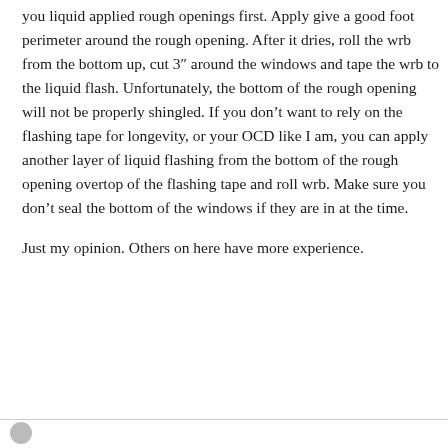you liquid applied rough openings first. Apply give a good foot perimeter around the rough opening. After it dries, roll the wrb from the bottom up, cut 3″ around the windows and tape the wrb to the liquid flash. Unfortunately, the bottom of the rough opening will not be properly shingled. If you don’t want to rely on the flashing tape for longevity, or your OCD like I am, you can apply another layer of liquid flashing from the bottom of the rough opening overtop of the flashing tape and roll wrb. Make sure you don’t seal the bottom of the windows if they are in at the time.
Just my opinion. Others on here have more experience.